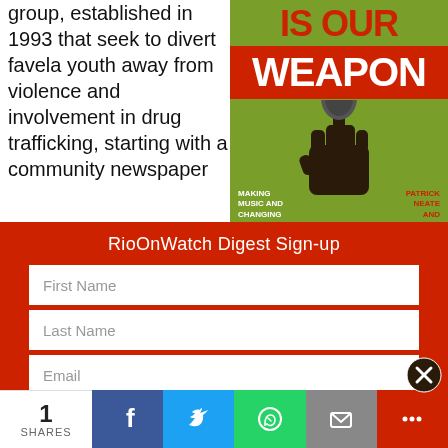group, established in 1993 that seek to divert favela youth away from violence and involvement in drug trafficking, starting with a community newspaper
[Figure (illustration): Book cover: 'IS OUR WEAPON' in red text on green background with a raised fist holding a microphone. Bottom left reads 'MAKING MUSIC AND CHANGING'. Bottom right reads 'PATRICK NEATE AND'.]
RioOnWatch Digest Sign-up
First Name
Last Name
Email
Organization
Country
1 SHARES